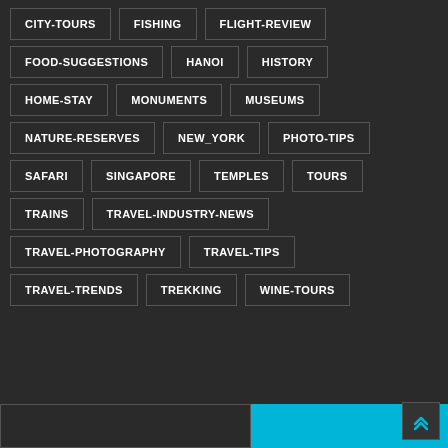CITY-TOURS
FISHING
FLIGHT-REVIEW
FOOD-SUGGESTIONS
HANOI
HISTORY
HOME-STAY
MONUMENTS
MUSEUMS
NATURE-RESERVES
NEW_YORK
PHOTO-TIPS
SAFARI
SINGAPORE
TEMPLES
TOURS
TRAINS
TRAVEL-INDUSTRY-NEWS
TRAVEL-PHOTOGRAPHY
TRAVEL-TIPS
TRAVEL-TRENDS
TREKKING
WINE-TOURS